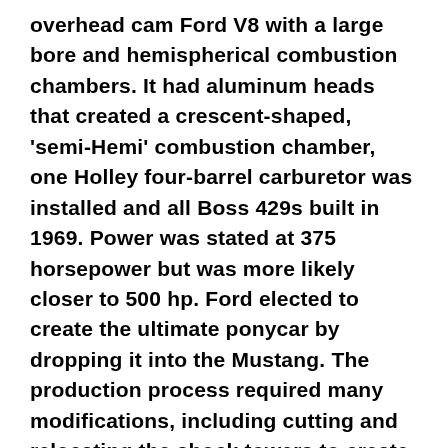overhead cam Ford V8 with a large bore and hemispherical combustion chambers. It had aluminum heads that created a crescent-shaped, 'semi-Hemi' combustion chamber, one Holley four-barrel carburetor was installed and all Boss 429s built in 1969. Power was stated at 375 horsepower but was more likely closer to 500 hp. Ford elected to create the ultimate ponycar by dropping it into the Mustang. The production process required many modifications, including cutting and relocating the shock towers to create the room necessary to fit the large engine. The battery was moved to the trunk, and a 3/4-inch sway bar was added to the rear axle. A large opening was cut in the hood to feed more air to the 429. The functional scoop mounted on the hood was the largest of any production Mustang, controlled manually from inside the car. Since air conditioning couldn't fit under the hood, it was not offered. The Boss 429 had a base price of $4,087, making it the most expensive non-Shelby Mustang to